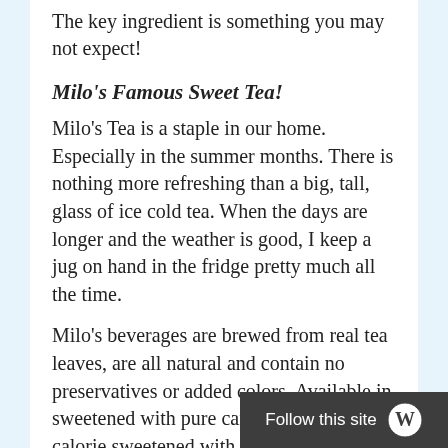The key ingredient is something you may not expect!
Milo's Famous Sweet Tea!
Milo's Tea is a staple in our home. Especially in the summer months. There is nothing more refreshing than a big, tall, glass of ice cold tea. When the days are longer and the weather is good, I keep a jug on hand in the fridge pretty much all the time.
Milo's beverages are brewed from real tea leaves, are all natural and contain no preservatives or added colors. Available in sweetened with pure cane sugar, zero calorie sweetened with sucralose, or unsweet, you can't go wrong!
Usually we are drinking Milo's also serves as the secret ingred